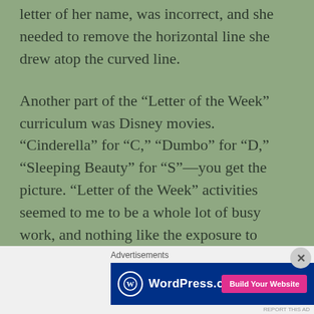letter of her name, was incorrect, and she needed to remove the horizontal line she drew atop the curved line.
Another part of the “Letter of the Week” curriculum was Disney movies. “Cinderella” for “C,” “Dumbo” for “D,” “Sleeping Beauty” for “S”—you get the picture. “Letter of the Week” activities seemed to me to be a whole lot of busy work, and nothing like the exposure to books and the interdisciplinary, hands-on projects I’d imagined.
Advertisements
[Figure (other): WordPress.com advertisement banner with blue background, WordPress logo on left, and pink 'Build Your Website' button on right]